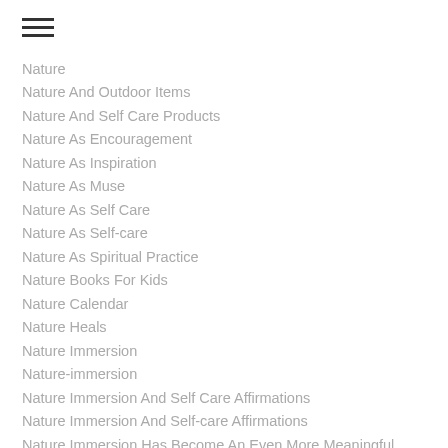Nature
Nature And Outdoor Items
Nature And Self Care Products
Nature As Encouragement
Nature As Inspiration
Nature As Muse
Nature As Self Care
Nature As Self-care
Nature As Spiritual Practice
Nature Books For Kids
Nature Calendar
Nature Heals
Nature Immersion
Nature-immersion
Nature Immersion And Self Care Affirmations
Nature Immersion And Self-care Affirmations
Nature Immersion Has Become An Even More Meaningful Treasure As Well As Spiritual And Physical Replenishment